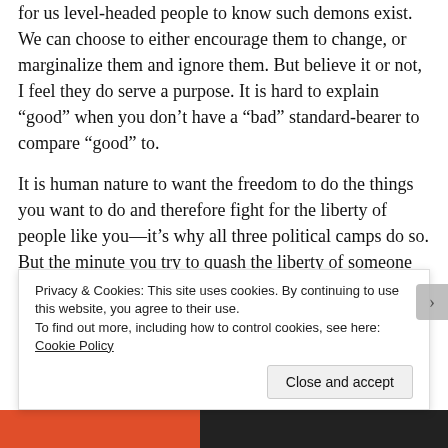for us level-headed people to know such demons exist. We can choose to either encourage them to change, or marginalize them and ignore them. But believe it or not, I feel they do serve a purpose. It is hard to explain “good” when you don’t have a “bad” standard-bearer to compare “good” to.
It is human nature to want the freedom to do the things you want to do and therefore fight for the liberty of people like you—it’s why all three political camps do so. But the minute you try to quash the liberty of someone you don’t agree with, you have stumbled your way into the land of legislative hypocrisy. It takes a much stronger conviction to fight for the rights of t b
Privacy & Cookies: This site uses cookies. By continuing to use this website, you agree to their use.
To find out more, including how to control cookies, see here: Cookie Policy
Close and accept